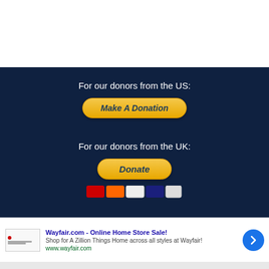For our donors from the US:
[Figure (screenshot): Orange/yellow rounded button with italic bold text 'Make A Donation' in dark navy color]
For our donors from the UK:
[Figure (screenshot): Orange/yellow rounded button with italic bold text 'Donate' in dark navy color, with payment method icons below]
[Figure (screenshot): Advertisement banner for Wayfair.com - Online Home Store Sale! with text 'Shop for A Zillion Things Home across all styles at Wayfair!' and URL www.wayfair.com, with a blue circular arrow button on the right and a close X button]